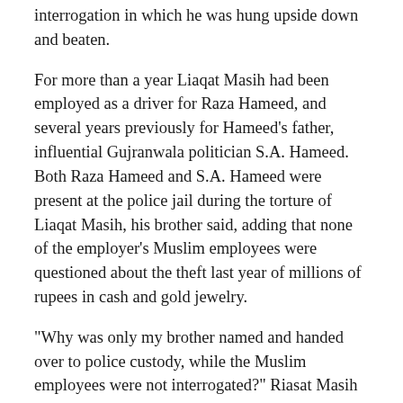interrogation in which he was hung upside down and beaten.
For more than a year Liaqat Masih had been employed as a driver for Raza Hameed, and several years previously for Hameed’s father, influential Gujranwala politician S.A. Hameed. Both Raza Hameed and S.A. Hameed were present at the police jail during the torture of Liaqat Masih, his brother said, adding that none of the employer’s Muslim employees were questioned about the theft last year of millions of rupees in cash and gold jewelry.
“Why was only my brother named and handed over to police custody, while the Muslim employees were not interrogated?” Riasat Masih said. “My brother had honestly served his employers for 15 years, but they did not even consider this fact before turning him in to police custody and asking them to torture him until he ‘confessed’ to the theft.”
Gujranwala Cantt Police arrested Liaqat Masih in mid-November 2015 after Raza Hameed registered a case against him (First Information Report No. 570/15). Riasat Masih said police had failed to produce any evidence against him or